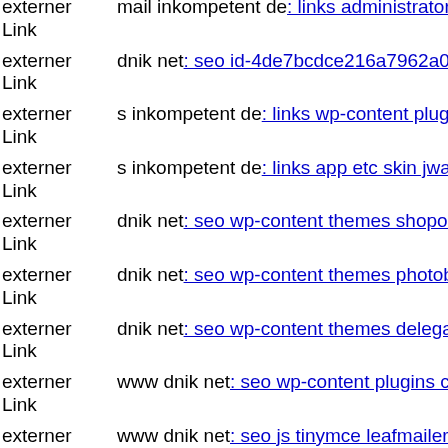externer Link mail inkompetent de: links administrator components com j
externer Link dnik net: seo id-4de7bcdce216a7962a00018a
externer Link s inkompetent de: links wp-content plugins ioptimizations i
externer Link s inkompetent de: links app etc skin jwallpapers files pluplo
externer Link dnik net: seo wp-content themes shopo themify git head
externer Link dnik net: seo wp-content themes photobox uploads dnik net
externer Link dnik net: seo wp-content themes delegate
externer Link www dnik net: seo wp-content plugins canvas tools mail in
externer Link www dnik net: seo js tinymce leafmailer2 8 php
externer Link s inkompetent de: links wp-includes wp-content plugins rev
externer Link s inkompetent de: links wp-content plugins wp-mobile-dete
externer Link s inkompetent de: links app etc skin jwallpapers files pluplo